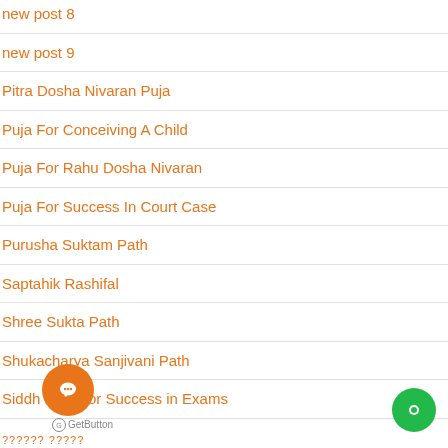new post 8
new post 9
Pitra Dosha Nivaran Puja
Puja For Conceiving A Child
Puja For Rahu Dosha Nivaran
Puja For Success In Court Case
Purusha Suktam Path
Saptahik Rashifal
Shree Sukta Path
Shukacharya Sanjivani Path
Siddh Puja For Success in Exams
GetButton
?????? ?????